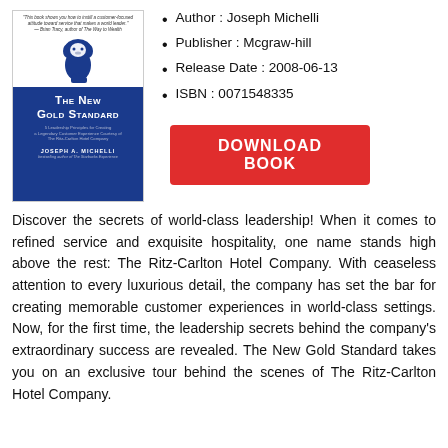[Figure (illustration): Book cover of 'The New Gold Standard' by Joseph A. Michelli, showing a lion logo and blue background]
Author : Joseph Michelli
Publisher : Mcgraw-hill
Release Date : 2008-06-13
ISBN : 0071548335
[Figure (other): Red download button labeled DOWNLOAD BOOK]
Discover the secrets of world-class leadership! When it comes to refined service and exquisite hospitality, one name stands high above the rest: The Ritz-Carlton Hotel Company. With ceaseless attention to every luxurious detail, the company has set the bar for creating memorable customer experiences in world-class settings. Now, for the first time, the leadership secrets behind the company's extraordinary success are revealed. The New Gold Standard takes you on an exclusive tour behind the scenes of The Ritz-Carlton Hotel Company.